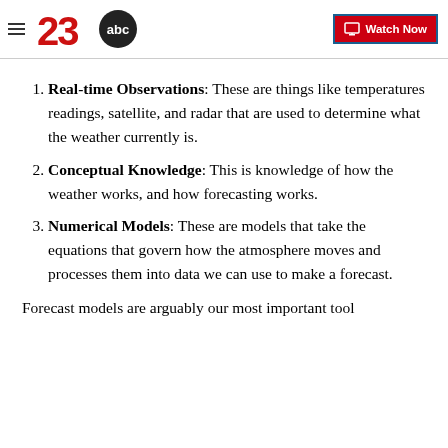23abc — Watch Now
Real-time Observations: These are things like temperatures readings, satellite, and radar that are used to determine what the weather currently is.
Conceptual Knowledge: This is knowledge of how the weather works, and how forecasting works.
Numerical Models: These are models that take the equations that govern how the atmosphere moves and processes them into data we can use to make a forecast.
Forecast models are arguably our most important tool